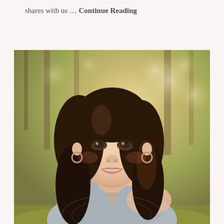shares with us … Continue Reading
[Figure (photo): Portrait photo of a smiling woman with dark hair, wearing a grey lace top and hoop earrings, photographed outdoors in a park with golden bokeh light and trees in the background.]